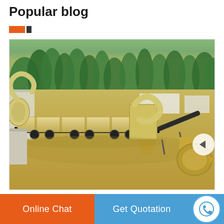Popular blog
[Figure (photo): Aerial/perspective view of a large industrial mining or quarrying plant with a long rotary dryer or kiln mounted on a truck trailer, conveyor belts, dust collection equipment, and supporting machinery in an open outdoor yard with trees/hillside in the background.]
Online Chat
Get Quotation